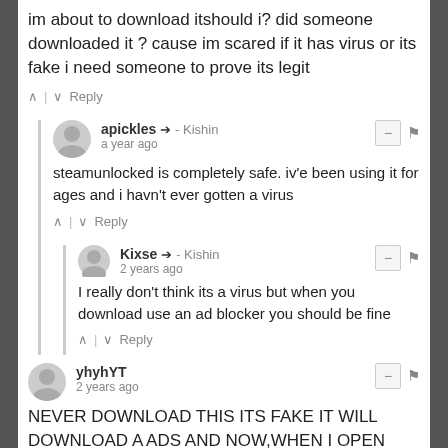im about to download itshould i? did someone downloaded it ? cause im scared if it has virus or its fake i need someone to prove its legit
∧ | ∨ Reply
apickles → - Kishin
a year ago
steamunlocked is completely safe. iv'e been using it for ages and i havn't ever gotten a virus
∧ | ∨ Reply
Kixse → - Kishin
2 years ago
I really don't think its a virus but when you download use an ad blocker you should be fine
∧ | ∨ Reply
yhyhYT
2 years ago
NEVER DOWNLOAD THIS ITS FAKE IT WILL DOWNLOAD A ADS AND NOW,WHEN I OPEN GOOGLE CHROME A ADS CALLED adorable